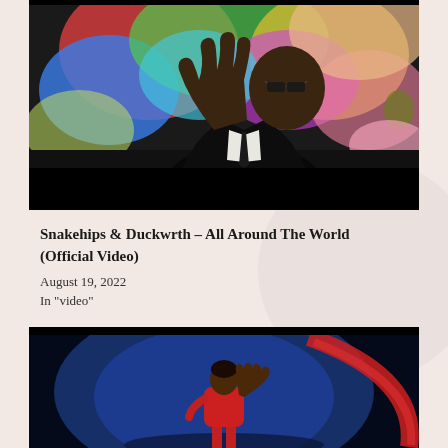[Figure (photo): A man in a black suit and dark sunglasses raising his hand against a colorful abstract painted background with blues, greens, reds and pinks. Dark cinematic framing.]
Snakehips & Duckwrth – All Around The World (Official Video)
August 19, 2022
In "video"
[Figure (photo): A woman in a red outfit on a stage, waving, with a large blue and red circular backdrop behind her.]